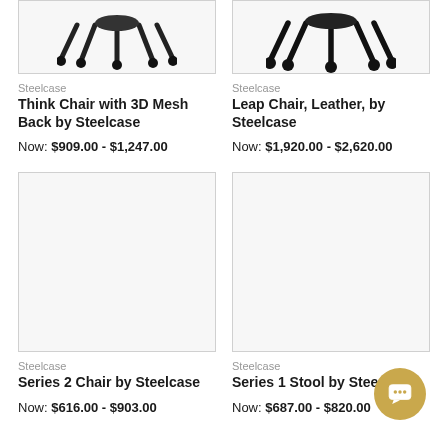[Figure (photo): Think Chair with 3D Mesh Back by Steelcase - chair base/casters visible at top]
Steelcase
Think Chair with 3D Mesh Back by Steelcase
Now: $909.00 - $1,247.00
[Figure (photo): Leap Chair, Leather, by Steelcase - chair base/casters visible at top]
Steelcase
Leap Chair, Leather, by Steelcase
Now: $1,920.00 - $2,620.00
[Figure (photo): Series 2 Chair by Steelcase - empty product image box]
Steelcase
Series 2 Chair by Steelcase
Now: $616.00 - $903.00
[Figure (photo): Series 1 Stool by Steelcase - empty product image box]
Steelcase
Series 1 Stool by Steelcase
Now: $687.00 - $820.00